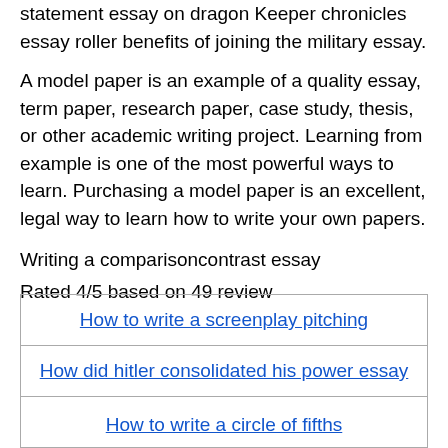statement essay on dragon Keeper chronicles essay roller benefits of joining the military essay.
A model paper is an example of a quality essay, term paper, research paper, case study, thesis, or other academic writing project. Learning from example is one of the most powerful ways to learn. Purchasing a model paper is an excellent, legal way to learn how to write your own papers.
Writing a comparisoncontrast essay
Rated 4/5 based on 49 review
| How to write a screenplay pitching |
| How did hitler consolidated his power essay |
| How to write a circle of fifths |